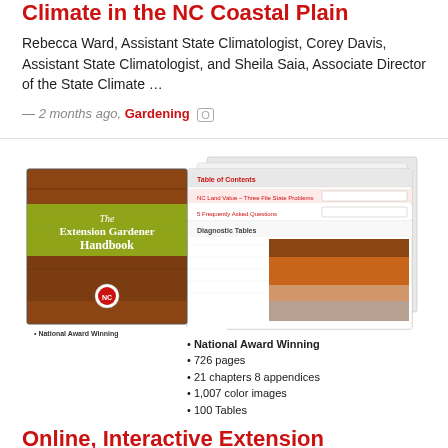Climate in the NC Coastal Plain
Rebecca Ward, Assistant State Climatologist, Corey Davis, Assistant State Climatologist, and Sheila Saia, Associate Director of the State Climate …
— 2 months ago, Gardening [O]
[Figure (photo): Composite image showing the Extension Gardener Handbook book cover alongside screenshots of its digital table of contents and diagnostic tables pages, including a soil profile photo. Bullet points list: National Award Winning, 726 pages, 21 chapters 8 appendices, 1,007 color images, 100 Tables.]
Online, Interactive Extension Gardener Handbook & Teacher's Guide
In partnership with Top Hat Monocle, we have just released an online interactive version of the NC Extension Gardener